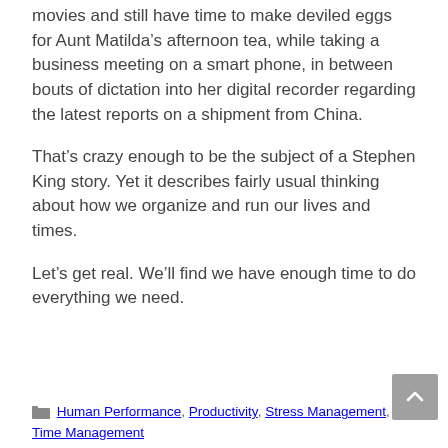movies and still have time to make deviled eggs for Aunt Matilda's afternoon tea, while taking a business meeting on a smart phone, in between bouts of dictation into her digital recorder regarding the latest reports on a shipment from China.
That's crazy enough to be the subject of a Stephen King story. Yet it describes fairly usual thinking about how we organize and run our lives and times.
Let's get real. We'll find we have enough time to do everything we need.
Human Performance, Productivity, Stress Management, Time Management